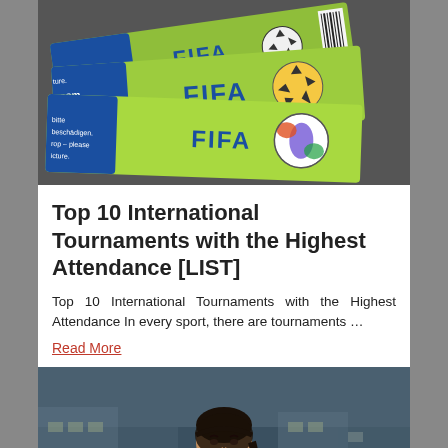[Figure (photo): Close-up photo of FIFA tournament tickets, green colored with FIFA logo and soccer ball graphics]
Top 10 International Tournaments with the Highest Attendance [LIST]
Top 10 International Tournaments with the Highest Attendance In every sport, there are tournaments …
Read More
[Figure (photo): Photo of a female soccer player with a headband, stadium in background]